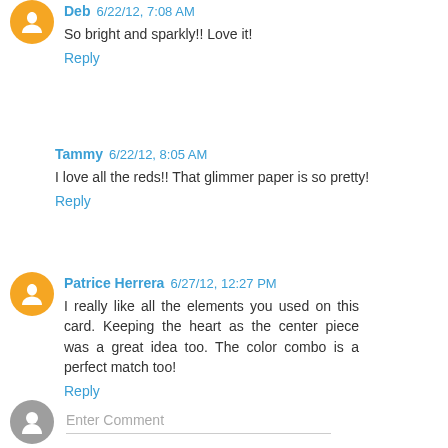Deb 6/22/12, 7:08 AM
So bright and sparkly!! Love it!
Reply
Tammy 6/22/12, 8:05 AM
I love all the reds!! That glimmer paper is so pretty!
Reply
Patrice Herrera 6/27/12, 12:27 PM
I really like all the elements you used on this card. Keeping the heart as the center piece was a great idea too. The color combo is a perfect match too!
Reply
Enter Comment